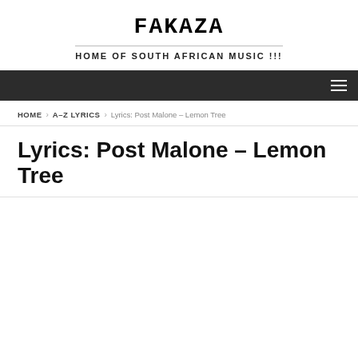FAKAZA
HOME OF SOUTH AFRICAN MUSIC !!!
HOME > A-Z LYRICS > Lyrics: Post Malone – Lemon Tree
Lyrics: Post Malone – Lemon Tree